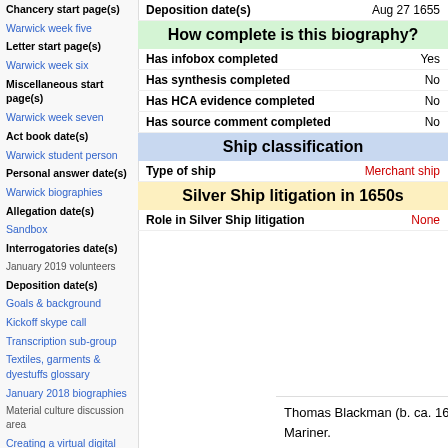Chancery start page(s)
Warwick week five
Letter start page(s)
Warwick week six
Miscellaneous start page(s)
Warwick week seven
Act book date(s)
Warwick student person
Personal answer date(s)
Warwick biographies
Allegation date(s)
Sandbox
Interrogatories date(s)
January 2019 volunteers
Deposition date(s)
Aug 27 1655
Goals & background
How complete is this biography?
Kickoff skype call
Has infobox completed
Yes
Transcription sub-group
Has synthesis completed
No
Has HCA evidence completed
No
Textiles, garments & dyestuffs glossary
Has source comment completed
No
January 2018 biographies
Ship classification
Type of ship
Merchant ship
Material culture discussion area
Silver Ship litigation in 1650s
Creating a virtual digital archive & research community for MaterialLives
Role in Silver Ship litigation
None
Textiles, garments, & dyestuffs
Thomas Blackman (b. ca. 1632; d. ?). Mariner.